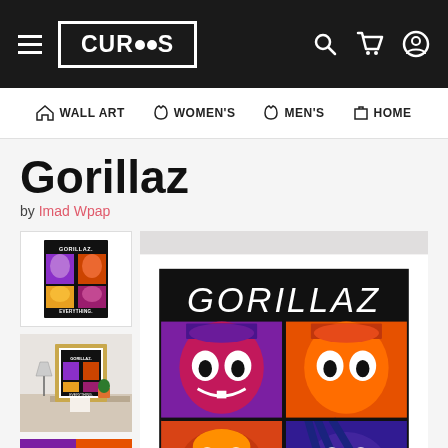CURIOOS — Navigation bar with hamburger menu, logo, search, cart, account icons
WALL ART  WOMEN'S  MEN'S  HOME
Gorillaz
by Imad Wpap
[Figure (photo): Gorillaz product listing page showing three thumbnail variations on left (plain print, framed print in room setting, close-up detail) and a large main product image on right showing a Gorillaz pop-art style illustration with cartoon characters on black background with text GORILLAZ at top]
[Figure (illustration): Large Gorillaz pop-art illustration with GORILLAZ text in white at top, showing colorful comic-style cartoon character portraits in purple, orange, pink, yellow on black background in a grid layout]